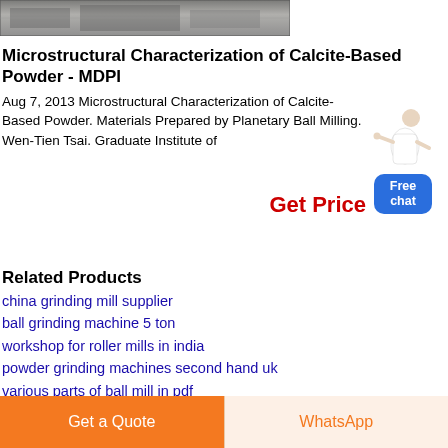[Figure (photo): Top image showing industrial equipment, partially cropped]
Microstructural Characterization of Calcite-Based Powder - MDPI
Aug 7, 2013 Microstructural Characterization of Calcite-Based Powder. Materials Prepared by Planetary Ball Milling. Wen-Tien Tsai. Graduate Institute of
[Figure (illustration): Chat widget: person illustration with Free chat button and Get Price text]
Related Products
china grinding mill supplier
ball grinding machine 5 ton
workshop for roller mills in india
powder grinding machines second hand uk
various parts of ball mill in pdf
antimony refining plant supplier